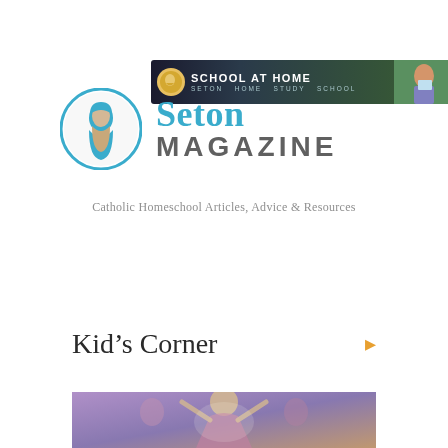[Figure (screenshot): Seton School at Home banner with dark background, school icon, text 'SCHOOL AT HOME / SETON HOME STUDY SCHOOL', and a girl reading a book on the right]
[Figure (logo): Seton Magazine logo: circular profile icon of a woman in teal, with 'Seton' in teal serif font and 'MAGAZINE' in gray bold capitals]
Catholic Homeschool Articles, Advice & Resources
MENU
Kid's Corner
[Figure (photo): Photo of a person with arms raised, purple/blue tinted, partially visible at bottom of page]